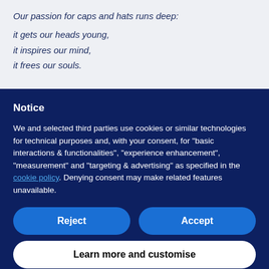Our passion for caps and hats runs deep:
it gets our heads young,
it inspires our mind,
it frees our souls.
Notice
We and selected third parties use cookies or similar technologies for technical purposes and, with your consent, for “basic interactions & functionalities”, “experience enhancement”, “measurement” and “targeting & advertising” as specified in the cookie policy. Denying consent may make related features unavailable.
Reject
Accept
Learn more and customise